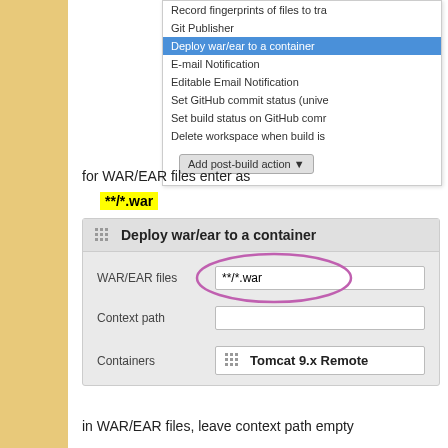[Figure (screenshot): Jenkins post-build actions dropdown menu showing 'Deploy war/ear to a container' selected (highlighted in blue), with options including Record fingerprints, Git Publisher, E-mail Notification, Editable Email Notification, Set GitHub commit status, Set build status on GitHub, Delete workspace when build is done, and Add post-build action button.]
for WAR/EAR files enter as
**/*.war
[Figure (screenshot): Deploy war/ear to a container configuration panel showing WAR/EAR files field filled with **/*.war (circled in magenta), Context path field (empty), and Containers field showing Tomcat 9.x Remote.]
in WAR/EAR files, leave context path empty